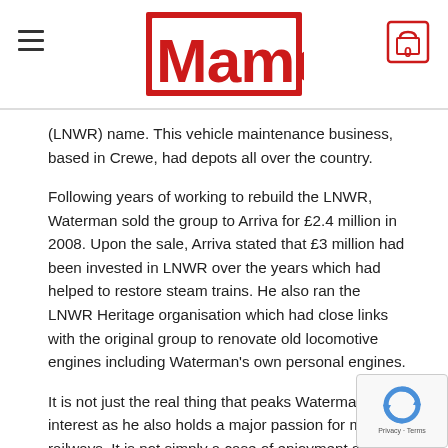Mamod — website header with hamburger menu and cart icon
(LNWR) name. This vehicle maintenance business, based in Crewe, had depots all over the country.
Following years of working to rebuild the LNWR, Waterman sold the group to Arriva for £2.4 million in 2008. Upon the sale, Arriva stated that £3 million had been invested in LNWR over the years which had helped to restore steam trains. He also ran the LNWR Heritage organisation which had close links with the original group to renovate old locomotive engines including Waterman's own personal engines.
It is not just the real thing that peaks Waterman's interest as he also holds a major passion for model railways. It is not simply a case of enjoyment as building layouts and running model trains has helped